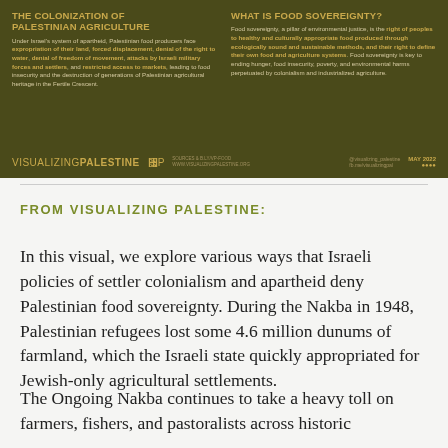[Figure (infographic): Infographic from Visualizing Palestine with dark olive/khaki background. Left column titled 'THE COLONIZATION OF PALESTINIAN AGRICULTURE' describes apartheid conditions. Right column titled 'WHAT IS FOOD SOVEREIGNTY?' defines the concept. Footer shows Visualizing Palestine and GP logos, sources, social media handles, and date MAY 2022.]
FROM VISUALIZING PALESTINE:
In this visual, we explore various ways that Israeli policies of settler colonialism and apartheid deny Palestinian food sovereignty. During the Nakba in 1948, Palestinian refugees lost some 4.6 million dunums of farmland, which the Israeli state quickly appropriated for Jewish-only agricultural settlements.
The Ongoing Nakba continues to take a heavy toll on farmers, fishers, and pastoralists across historic